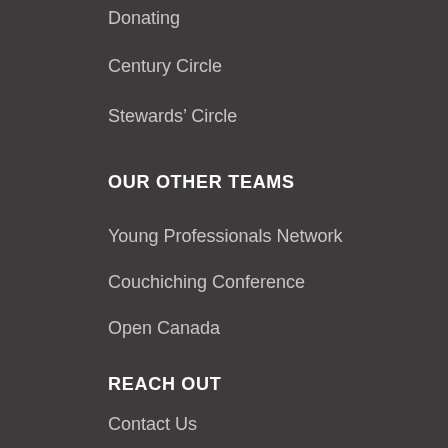Donating
Century Circle
Stewards' Circle
OUR OTHER TEAMS
Young Professionals Network
Couchiching Conference
Open Canada
REACH OUT
Contact Us
Media Enquiries
Submission Guidelines